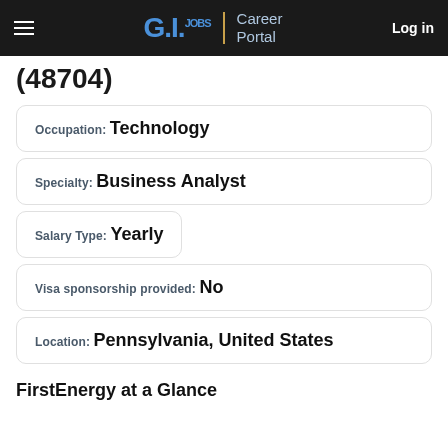G.I.JOBS Career Portal | Log in
(48704)
Occupation: Technology
Specialty: Business Analyst
Salary Type: Yearly
Visa sponsorship provided: No
Location: Pennsylvania, United States
FirstEnergy at a Glance